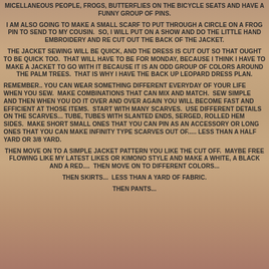MICELLANEOUS PEOPLE, FROGS, BUTTERFLIES ON THE BICYCLE SEATS AND HAVE A FUNNY GROUP OF PINS.
I AM ALSO GOING TO MAKE A SMALL SCARF TO PUT THROUGH A CIRCLE ON A FROG PIN TO SEND TO MY COUSIN. SO, I WILL PUT ON A SHOW AND DO THE LITTLE HAND EMBROIDERY AND RE CUT OUT THE BACK OF THE JACKET.
THE JACKET SEWING WILL BE QUICK, AND THE DRESS IS CUT OUT SO THAT OUGHT TO BE QUICK TOO. THAT WILL HAVE TO BE FOR MONDAY, BECAUSE I THINK I HAVE TO MAKE A JACKET TO GO WITH IT BECAUSE IT IS AN ODD GROUP OF COLORS AROUND THE PALM TREES. THAT IS WHY I HAVE THE BACK UP LEOPARD DRESS PLAN.
REMEMBER.. YOU CAN WEAR SOMETHING DIFFERENT EVERYDAY OF YOUR LIFE WHEN YOU SEW. MAKE COMBINATIONS THAT CAN MIX AND MATCH. SEW SIMPLE AND THEN WHEN YOU DO IT OVER AND OVER AGAIN YOU WILL BECOME FAST AND EFFICIENT AT THOSE ITEMS. START WITH MANY SCARVES. USE DIFFERENT DETAILS ON THE SCARVES... TUBE, TUBES WITH SLANTED ENDS, SERGED, ROLLED HEM SIDES. MAKE SHORT SMALL ONES THAT YOU CAN PIN AS AN ACCESSORY OR LONG ONES THAT YOU CAN MAKE INFINITY TYPE SCARVES OUT OF..... LESS THAN A HALF YARD OR 3/8 YARD.
THEN MOVE ON TO A SIMPLE JACKET PATTERN YOU LIKE THE CUT OFF. MAYBE FREE FLOWING LIKE MY LATEST LIKES OR KIMONO STYLE AND MAKE A WHITE, A BLACK AND A RED.... THEN MOVE ON TO DIFFERENT COLORS...
THEN SKIRTS... LESS THAN A YARD OF FABRIC.
THEN PANTS...